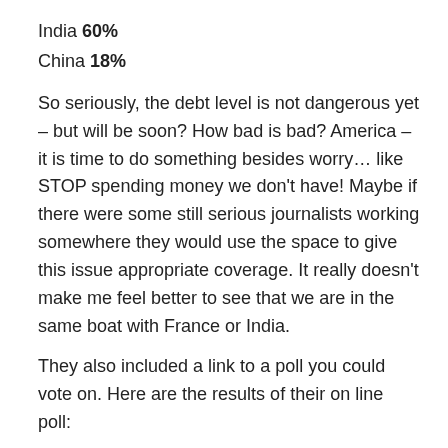India 60%
China 18%
So seriously, the debt level is not dangerous yet – but will be soon? How bad is bad? America – it is time to do something besides worry… like STOP spending money we don't have! Maybe if there were some still serious journalists working somewhere they would use the space to give this issue appropriate coverage. It really doesn't make me feel better to see that we are in the same boat with France or India.
They also included a link to a poll you could vote on. Here are the results of their on line poll:
Parade Magazine Poll Results
Do you fear that our national debt will hurt our